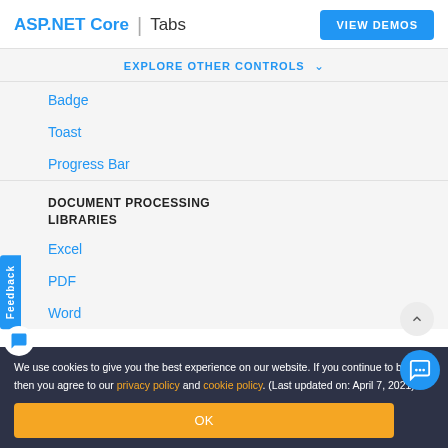ASP.NET Core | Tabs
EXPLORE OTHER CONTROLS
Badge
Toast
Progress Bar
DOCUMENT PROCESSING LIBRARIES
Excel
PDF
Word
We use cookies to give you the best experience on our website. If you continue to browse, then you agree to our privacy policy and cookie policy. (Last updated on: April 7, 2021)